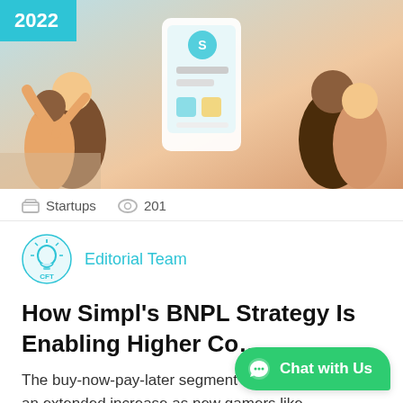[Figure (illustration): Hero banner illustration showing people using smartphones with a Simpl app UI, teal and warm color scheme, with a 2022 year badge in top-left corner.]
Startups   201
Editorial Team
How Simpl’s BNPL Strategy Is Enabling Higher Co…
The buy-now-pay-later segment has been witnessing an extended increase as new gamers like Amazon,…
Chat with Us